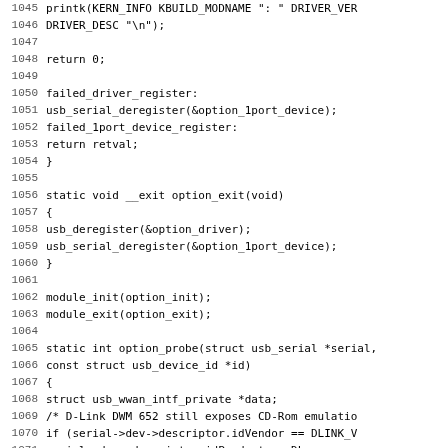Source code listing, lines 1045-1077, C kernel driver code for USB serial option module
1045	printk(KERN_INFO KBUILD_MODNAME ": " DRIVER_VER
1046		DRIVER_DESC "\n");
1047
1048		return 0;
1049
1050 failed_driver_register:
1051		usb_serial_deregister(&option_1port_device);
1052 failed_1port_device_register:
1053		return retval;
1054 }
1055
1056 static void __exit option_exit(void)
1057 {
1058		usb_deregister(&option_driver);
1059		usb_serial_deregister(&option_1port_device);
1060 }
1061
1062 module_init(option_init);
1063 module_exit(option_exit);
1064
1065 static int option_probe(struct usb_serial *serial,
1066				const struct usb_device_id *id)
1067 {
1068		struct usb_wwan_intf_private *data;
1069		/* D-Link DWM 652 still exposes CD-Rom emulatio
1070		if (serial->dev->descriptor.idVendor == DLINK_V
1071			serial->dev->descriptor.idProduct == DL
1072			serial->interface->cur_altsetting->desc
1073			return -ENODEV;
1074
1075		/* Bandrich modem and AT command interface is 0
1076		if ((serial->dev->descriptor.idVendor == BANDRI
1077